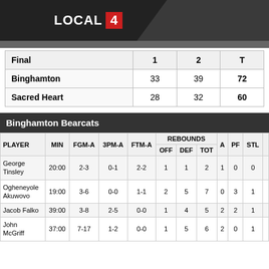LOCAL 4
| Final | 1 | 2 | T |
| --- | --- | --- | --- |
| Binghamton | 33 | 39 | 72 |
| Sacred Heart | 28 | 32 | 60 |
Binghamton Bearcats
| PLAYER | MIN | FGM-A | 3PM-A | FTM-A | OFF | DEF | TOT | A | PF | STL |
| --- | --- | --- | --- | --- | --- | --- | --- | --- | --- | --- |
| George Tinsley | 20:00 | 2-3 | 0-1 | 2-2 | 1 | 1 | 2 | 1 | 0 | 0 |
| Ogheneyole Akuwovo | 19:00 | 3-6 | 0-0 | 1-1 | 2 | 5 | 7 | 0 | 3 | 1 |
| Jacob Falko | 39:00 | 3-8 | 2-5 | 0-0 | 1 | 4 | 5 | 2 | 2 | 1 |
| John McGriff | 37:00 | 7-17 | 1-2 | 0-0 | 1 | 5 | 6 | 2 | 0 | 1 |